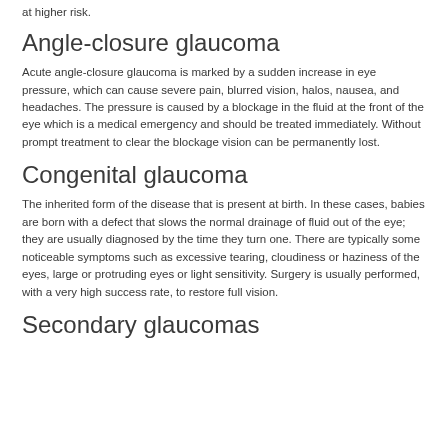at higher risk.
Angle-closure glaucoma
Acute angle-closure glaucoma is marked by a sudden increase in eye pressure, which can cause severe pain, blurred vision, halos, nausea, and headaches. The pressure is caused by a blockage in the fluid at the front of the eye which is a medical emergency and should be treated immediately. Without prompt treatment to clear the blockage vision can be permanently lost.
Congenital glaucoma
The inherited form of the disease that is present at birth. In these cases, babies are born with a defect that slows the normal drainage of fluid out of the eye; they are usually diagnosed by the time they turn one. There are typically some noticeable symptoms such as excessive tearing, cloudiness or haziness of the eyes, large or protruding eyes or light sensitivity. Surgery is usually performed, with a very high success rate, to restore full vision.
Secondary glaucomas